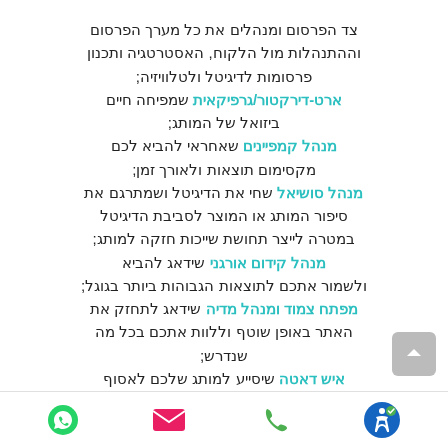צד הפרסום ומנהלים את כל מערך הפרסום וההתנהלות מול הלקוח, האסטרטגיה ותכנון פרסומות לדיגיטל ולטלוויזיה; ארט-דירקטור/גרפיקאית שמפיחה חיים ביזואל של המותג; מנהל קמפיינים שאחראי להביא לכם מקסימום תוצאות ולאורך זמן; מנהל סושיאל שחי את הדיגיטל ושמתרגם את סיפור המותג או המוצר לסביבת הדיגיטל במטרה לייצר תחושת שייכות חזקה למותג; מנהל קידום אורגני שידאג להביא ולשמור אתכם לתוצאות הגבוהות ביותר בגוגל; מפתח צמוד ומנהל מדיה שידאג לתחזק את האתר באופן שוטף וללוות אתכם בכל מה שנדרש; איש דאטה שיסייע למותג שלכם לאסוף דאטה בצורה טובה ומדויקת יותר במטרה לקבל החלטות עסקיות חכמות יותר; וגם במאי פרסומות מנוסה שיצור לכם את
[Figure (other): Bottom navigation bar with accessibility icon, phone icon, email icon, and WhatsApp icon]